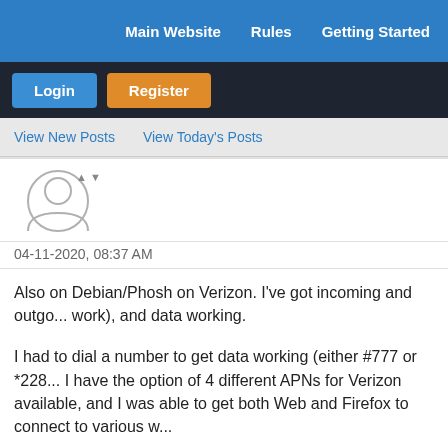Main Website   Rules   Getting Started
Login   Register
View New Posts   View Today's Posts
[Figure (illustration): User avatar placeholder: circular silhouette of a person, grey outline on white background]
04-11-2020, 08:37 AM
Also on Debian/Phosh on Verizon. I've got incoming and outgoing calls (SMS doesn't work), and data working.
I had to dial a number to get data working (either #777 or *228...). I have the option of 4 different APNs for Verizon available, and I was able to get both Web and Firefox to connect to various w...
The only thing I'm having issues with on a the connectivity fro...
@bcnaz I know you asked about hotspotting in the other threa... is, I'll give it a shot!